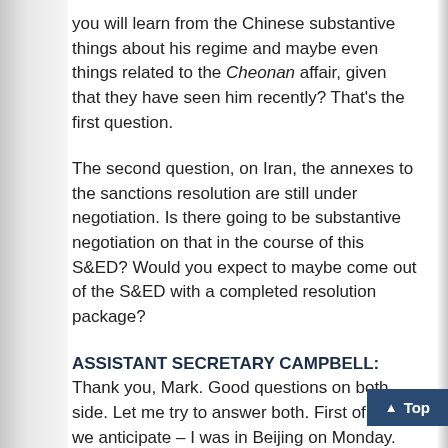you will learn from the Chinese substantive things about his regime and maybe even things related to the Cheonan affair, given that they have seen him recently? That's the first question.
The second question, on Iran, the annexes to the sanctions resolution are still under negotiation. Is there going to be substantive negotiation on that in the course of this S&ED? Would you expect to maybe come out of the S&ED with a completed resolution package?
ASSISTANT SECRETARY CAMPBELL: Thank you, Mark. Good questions on both side. Let me try to answer both. First of all, we anticipate – I was in Beijing on Monday. We obviously discussed with Chinese friends developments on the Korean Peninsula. I anticipate a central issue of discussion for Secretary Clinton with her interlocutors, Dai Bingguo and also the Chinese leaders, will be on their assessments and – their assessments of developments in North Korea and their